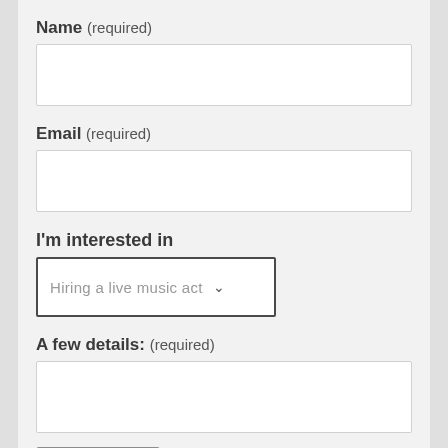Name (required)
[Figure (other): Empty text input field for Name]
Email (required)
[Figure (other): Empty text input field for Email]
I'm interested in
[Figure (other): Dropdown select field showing 'Hiring a live music act']
A few details: (required)
[Figure (other): Empty textarea input field for A few details]
SUBMIT